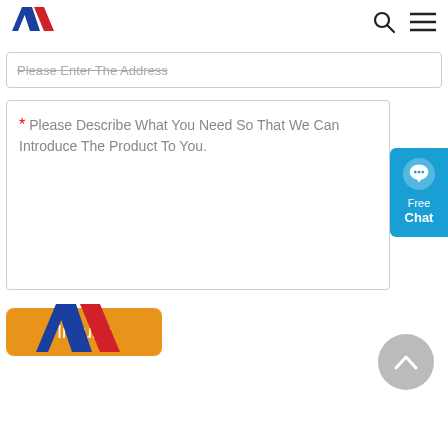[Figure (logo): AW logo with blue and red chevron/arrow symbol in header]
[Figure (screenshot): Address input field (partially visible at top) with placeholder text strikethrough style]
* Please Describe What You Need So That We Can Introduce The Product To You.
[Figure (infographic): Free Chat button on the right side with chat bubble icon, blue background]
Inquiry
[Figure (logo): AW logo larger version in footer area]
[Figure (other): Back to top circular button with upward chevron arrow, gray]